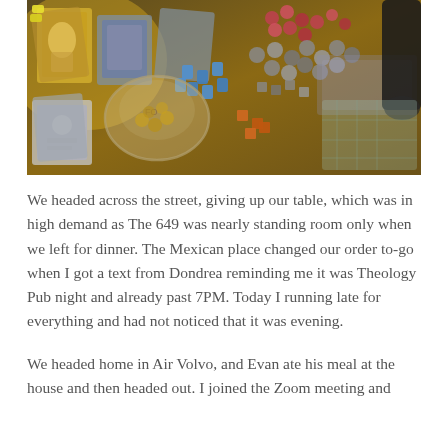[Figure (photo): Overhead photo of a board game in progress on a wooden table, showing game cards, colorful tokens/meeples in various colors (red, blue, gray, yellow, orange), coins, and a round clear container. A person's hand is visible at the right edge.]
We headed across the street, giving up our table, which was in high demand as The 649 was nearly standing room only when we left for dinner. The Mexican place changed our order to-go when I got a text from Dondrea reminding me it was Theology Pub night and already past 7PM. Today I running late for everything and had not noticed that it was evening.
We headed home in Air Volvo, and Evan ate his meal at the house and then headed out. I joined the Zoom meeting and